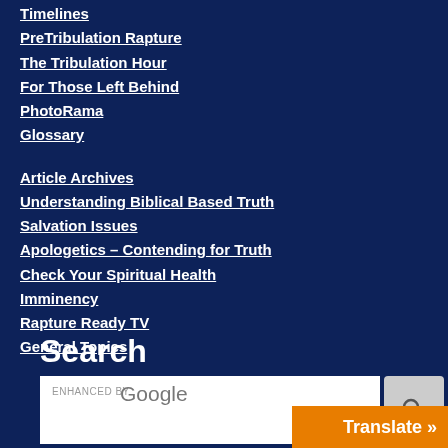Timelines
PreTribulation Rapture
The Tribulation Hour
For Those Left Behind
PhotoRama
Glossary
Article Archives
Understanding Biblical Based Truth
Salvation Issues
Apologetics – Contending for Truth
Check Your Spiritual Health
Imminency
Rapture Ready TV
General Topics
Search
[Figure (screenshot): Google search bar with 'ENHANCED BY Google' text and search button]